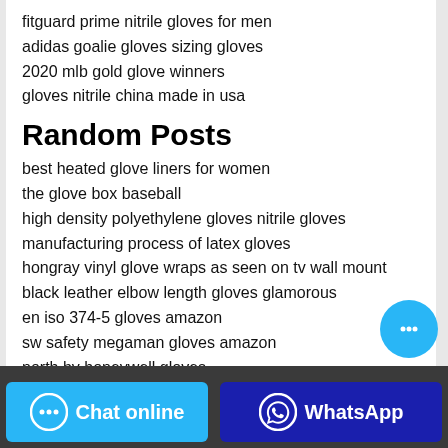fitguard prime nitrile gloves for men
adidas goalie gloves sizing gloves
2020 mlb gold glove winners
gloves nitrile china made in usa
Random Posts
best heated glove liners for women
the glove box baseball
high density polyethylene gloves nitrile gloves
manufacturing process of latex gloves
hongray vinyl glove wraps as seen on tv wall mount
black leather elbow length gloves glamorous
en iso 374-5 gloves amazon
sw safety megaman gloves amazon
north by honeywell gloves
warm fingerless work gloves
Chat online | WhatsApp